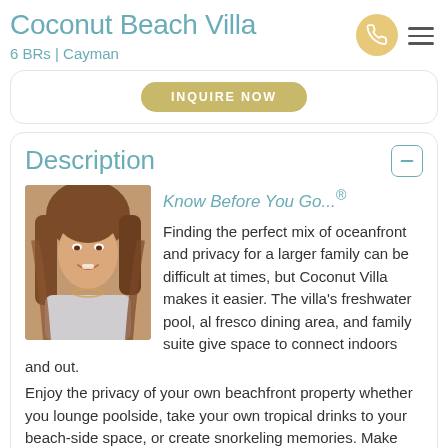Coconut Beach Villa
6 BRs | Cayman
INQUIRE NOW
Description
Know Before You Go...®
[Figure (photo): Portrait photo of a woman with long brown hair, smiling, wearing jewelry]
Finding the perfect mix of oceanfront and privacy for a larger family can be difficult at times, but Coconut Villa makes it easier. The villa's freshwater pool, al fresco dining area, and family suite give space to connect indoors and out. Enjoy the privacy of your own beachfront property whether you lounge poolside, take your own tropical drinks to your beach-side space, or create snorkeling memories. Make sure to wear pool shoes or fins when you go in the water! With lush landscaping and an oceanfront